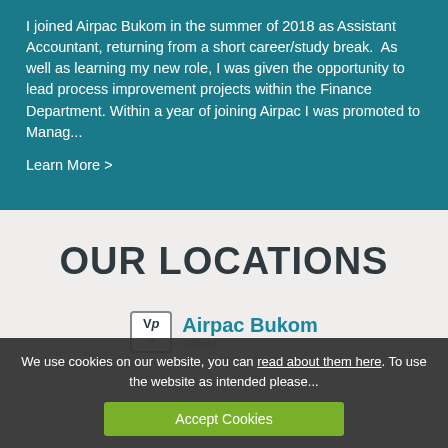I joined Airpac Bukom in the summer of 2018 as Assistant Accountant, returning from a short career/study break.  As well as learning my new role, I was given the opportunity to lead process improvement projects within the Finance Department. Within a year of joining Airpac I was promoted to Manag...
Learn More >
OUR LOCATIONS
[Figure (logo): VP logo icon with 'Vp' text and subscript 'ok', followed by 'Airpac Bukom' company name in teal bold text with 'Oilfield...' subtitle]
We use cookies on our website, you can read about them here. To use the website as intended please...
Accept Cookies